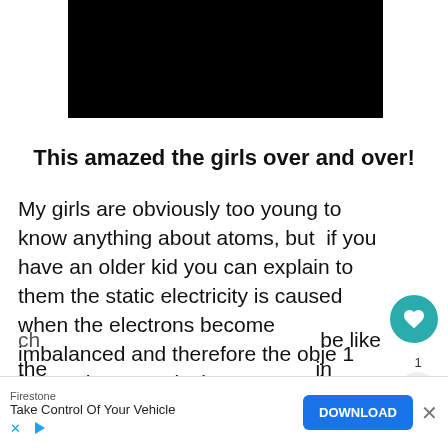[Figure (other): Black video/media player thumbnail at top of page]
This amazed the girls over and over!
My girls are obviously too young to know anything about atoms, but  if you have an older kid you can explain to them the static electricity is caused when the electrons become imbalanced and therefore the obje has a charge.  It is then attracted to things with an opposite charge or things with no ch... be like the... in
[Figure (other): Advertisement banner: Firestone - Take Control Of Your Vehicle, with DOWNLOAD button]